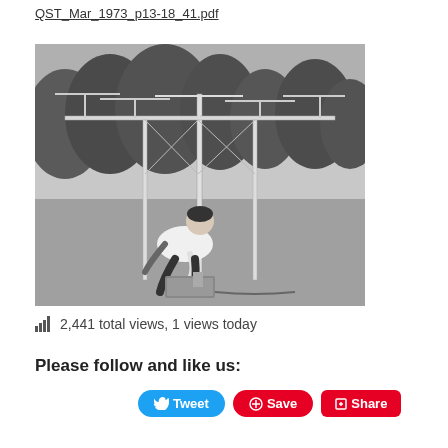QST_Mar_1973_p13-18_41.pdf
[Figure (photo): Black and white photograph of a man crouching on grass, working on the base of a large outdoor antenna structure with multiple horizontal elements extending outward, with trees in the background.]
2,441 total views, 1 views today
Please follow and like us:
Tweet  Save  Share